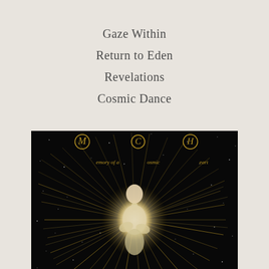Gaze Within
Return to Eden
Revelations
Cosmic Dance
[Figure (illustration): Album cover for 'Memory of a Cosmic Heart' — a dark starfield background with a glowing figure of a person surrounded by radiating golden light rays, and decorative golden script lettering across the top reading 'Memory of a Cosmic Heart']